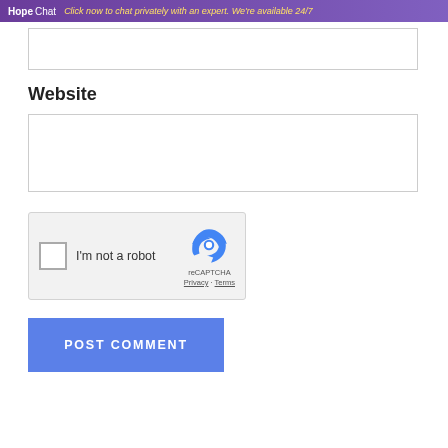HopeChat - Click now to chat privately with an expert. We're available 24/7
[Figure (other): Empty text input box (top, partially visible)]
Website
[Figure (other): Empty website text input box]
[Figure (other): reCAPTCHA widget with checkbox labeled 'I'm not a robot' and reCAPTCHA logo with Privacy and Terms links]
[Figure (other): POST COMMENT button (blue)]